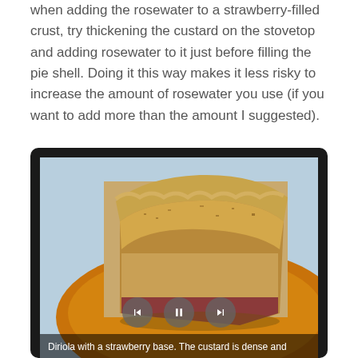when adding the rosewater to a strawberry-filled crust, try thickening the custard on the stovetop and adding rosewater to it just before filling the pie shell. Doing it this way makes it less risky to increase the amount of rosewater you use (if you want to add more than the amount I suggested).
[Figure (photo): A video player showing a slice of diriola pie with a strawberry base on an orange plate, with playback controls (back, pause, forward) overlaid, and a caption bar reading 'Diriola with a strawberry base. The custard is dense and']